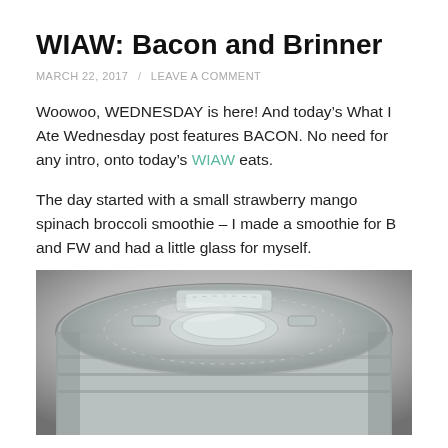WIAW: Bacon and Brinner
MARCH 22, 2017  /  LEAVE A COMMENT
Woowoo, WEDNESDAY is here! And today's What I Ate Wednesday post features BACON. No need for any intro, onto today's WIAW eats.
The day started with a small strawberry mango spinach broccoli smoothie – I made a smoothie for B and FW and had a little glass for myself.
[Figure (photo): Close-up photo of a clear plastic blender lid/top from above, showing the locking mechanism and transparent container.]